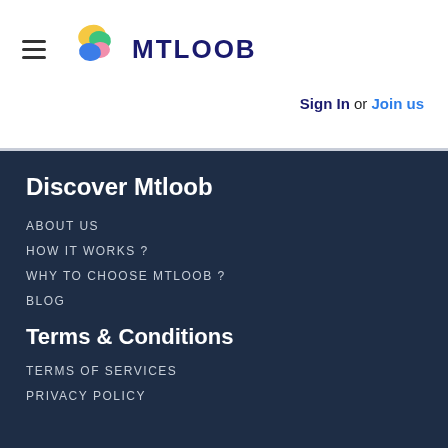MTLOOB
Sign In or Join us
Discover Mtloob
ABOUT US
HOW IT WORKS ?
WHY TO CHOOSE MTLOOB ?
BLOG
Terms & Conditions
TERMS OF SERVICES
PRIVACY POLICY